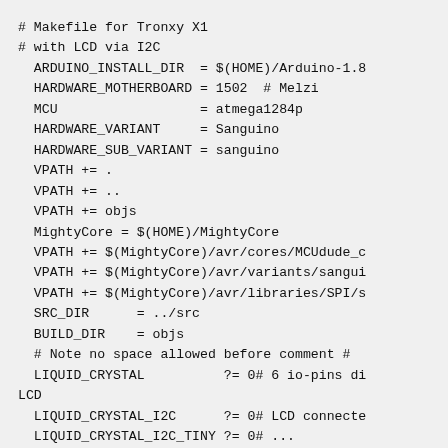# Makefile for Tronxy X1
# with LCD via I2C
  ARDUINO_INSTALL_DIR  = $(HOME)/Arduino-1.8
  HARDWARE_MOTHERBOARD = 1502  # Melzi
  MCU                  = atmega1284p
  HARDWARE_VARIANT     = Sanguino
  HARDWARE_SUB_VARIANT = sanguino
  VPATH += .
  VPATH += ..
  VPATH += objs
  MightyCore = $(HOME)/MightyCore
  VPATH += $(MightyCore)/avr/cores/MCUdude_c
  VPATH += $(MightyCore)/avr/variants/sangui
  VPATH += $(MightyCore)/avr/libraries/SPI/s
  SRC_DIR      = ../src
  BUILD_DIR    = objs
  # Note no space allowed before comment #
  LIQUID_CRYSTAL          ?= 0# 6 io-pins di
LCD
  LIQUID_CRYSTAL_I2C      ?= 0# LCD connecte
  LIQUID_CRYSTAL_I2C_TINY ?= 0# ...